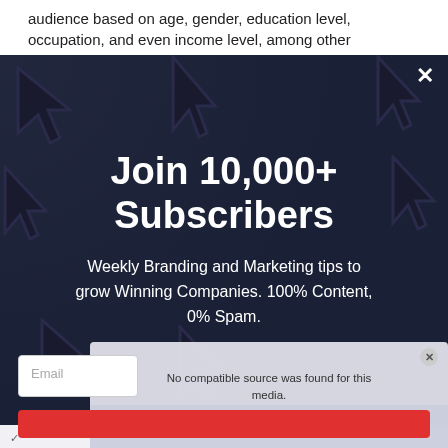audience based on age, gender, education level, occupation, and even income level, among other
[Figure (screenshot): Dark navy popup modal with cursor arrow decorations in background. Contains headline 'Join 10,000+ Subscribers' and subtitle text about branding/marketing tips.]
Join 10,000+ Subscribers
Weekly Branding and Marketing tips to grow Winning Companies. 100% Content, 0% Spam.
[Figure (screenshot): Overlapping video player widget showing 'No compatible source was found for this media.' error message with close button and social media marketing thumbnail/text below.]
Email
SOCIAL MEDIA PLATFORM' FOR BUSINESS MARKETING